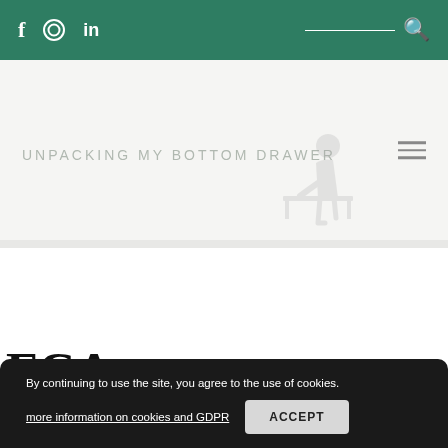f  [instagram]  in  [search]
UNPACKING MY BOTTOM DRAWER
[Figure (illustration): Faint greyscale illustration of a person sitting at a desk, viewed from the side]
FCA
By continuing to use the site, you agree to the use of cookies. more information on cookies and GDPR  ACCEPT
2013  Grateful 20